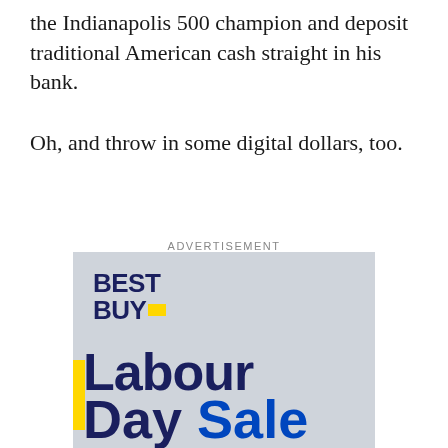the Indianapolis 500 champion and deposit traditional American cash straight in his bank.
Oh, and throw in some digital dollars, too.
ADVERTISEMENT
[Figure (photo): Best Buy advertisement showing the Best Buy logo in dark navy and yellow, with partial text reading 'Labour' and 'Day Sale' in large bold navy and blue letters on a light grey background.]